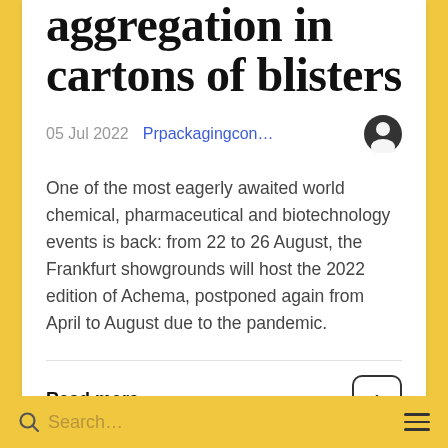…serialisation and aggregation in cartons of blisters
05 Jul 2022   Prpackagingcon…
One of the most eagerly awaited world chemical, pharmaceutical and biotechnology events is back: from 22 to 26 August, the Frankfurt showgrounds will host the 2022 edition of Achema, postponed again from April to August due to the pandemic.
Read more
Log in or register to post comments
Search…